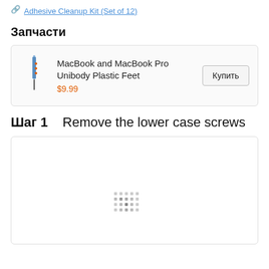Adhesive Cleanup Kit (Set of 12)
Запчасти
| Image | Name | Price | Action |
| --- | --- | --- | --- |
| [image] | MacBook and MacBook Pro Unibody Plastic Feet | $9.99 | Купить |
Шаг 1    Remove the lower case screws
[Figure (photo): Loading image placeholder with dotted pattern in center, inside a rounded border box]